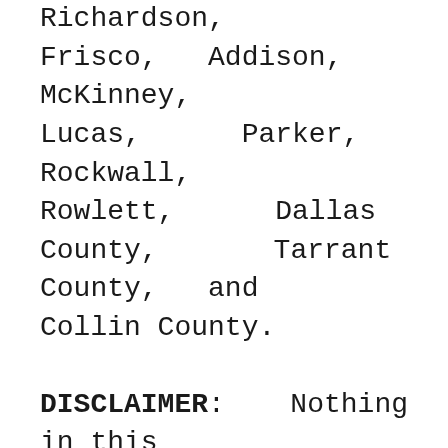Richardson, Frisco, Addison, McKinney, Lucas, Parker, Rockwall, Rowlett, Dallas County, Tarrant County, and Collin County.
DISCLAIMER: Nothing in this blog post constitutes legal advice. The information provided herein is merely provided in the spirit of education. If you have a legal question, you should consult an attorney for your specific legal situation. Further, nothing in this blog shall be construed to...